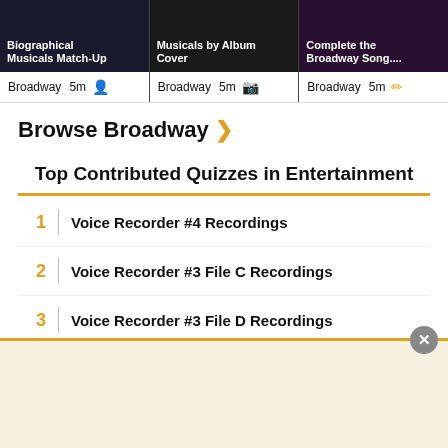[Figure (screenshot): Three quiz card thumbnails with dark backgrounds showing Broadway-themed quiz titles: 'Biographical Musicals Match-Up', 'Musicals by Album Cover', 'Complete the Broadway Song....' Each card shows 'Broadway  5m' with an icon below.]
Broadway  5m
Broadway  5m
Broadway  5m
Browse Broadway
Top Contributed Quizzes in Entertainment
1  Voice Recorder #4 Recordings
2  Voice Recorder #3 File C Recordings
3  Voice Recorder #3 File D Recordings
4  Famous Faces and Logos IV